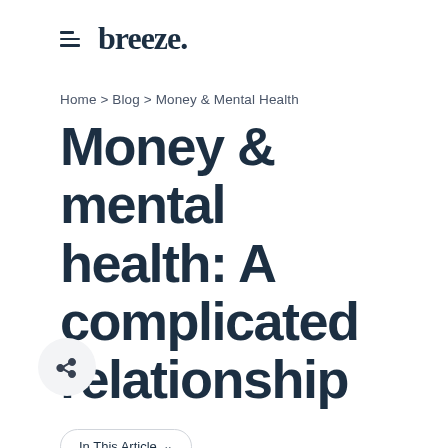breeze.
Home > Blog > Money & Mental Health
Money & mental health: A complicated relationship
In This Article ∨